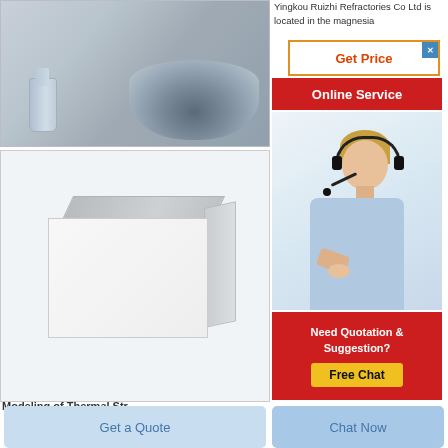[Figure (photo): Photo of grey/blue refractory powder material with a glass flask and a pile of powder on a white background]
Yingkou Ruizhi Refractories Co Ltd is located in the magnesia
[Figure (other): Get Price button with orange border and red text, with a blue close X button]
[Figure (other): Red Online Service banner]
[Figure (photo): Photo of a customer service agent woman wearing a headset, smiling]
[Figure (other): Red box with text: Need Quotation & Suggestion? and a yellow Free Chat button]
[Figure (photo): Photo of a white cardboard shipping box on a white background]
Modeling of Thermal Str...
Get a Quote
Chat Now